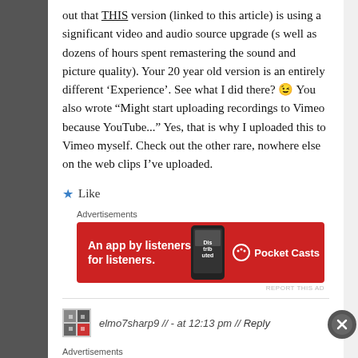out that THIS version (linked to this article) is using a significant video and audio source upgrade (s well as dozens of hours spent remastering the sound and picture quality). Your 20 year old version is an entirely different ‘Experience’. See what I did there? 😉 You also wrote “Might start uploading recordings to Vimeo because YouTube...” Yes, that is why I uploaded this to Vimeo myself. Check out the other rare, nowhere else on the web clips I’ve uploaded.
★ Like
Advertisements
[Figure (other): Pocket Casts advertisement banner: red background with text 'An app by listeners, for listeners.' and Pocket Casts logo with phone image.]
REPORT THIS AD
elmo7sharp9 // - at 12:13 pm // Reply
Advertisements
REPORT THIS AD